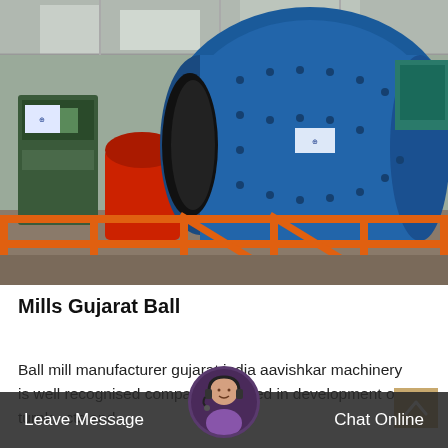[Figure (photo): Industrial ball mill machine in a factory/warehouse setting. A large blue cylindrical ball mill is prominently featured in the center, with orange safety railings in the foreground, a green motor/drive unit on the left, and red coupling visible. The facility has steel structure visible overhead.]
Mills Gujarat Ball
Ball mill manufacturer gujarat india aavishkar machinery is well recognised company engaged in development of turnk cts and...